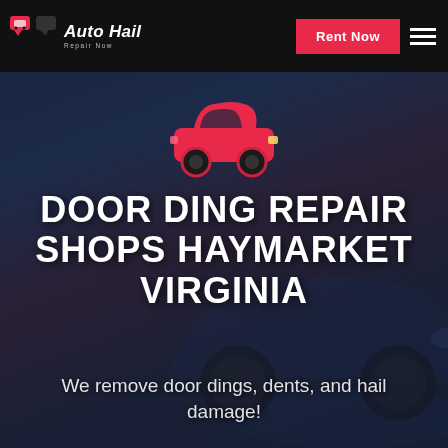Auto Hail Repair Now — Rent Now
[Figure (illustration): Red car icon (top-down view) in the hero section center]
DOOR DING REPAIR SHOPS HAYMARKET VIRGINIA
We remove door dings, dents, and hail damage!